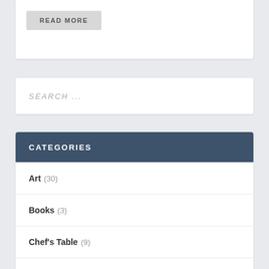READ MORE
SEARCH ...
CATEGORIES
Art (30)
Books (3)
Chef's Table (9)
Coffee (1)